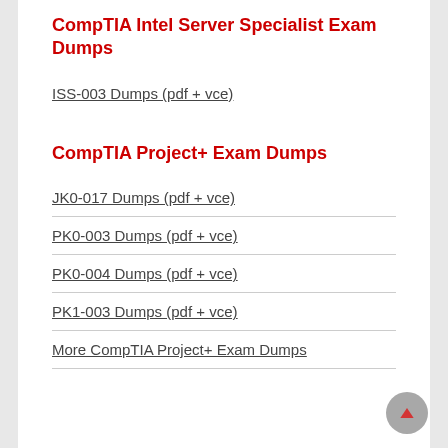CompTIA Intel Server Specialist Exam Dumps
ISS-003 Dumps (pdf + vce)
CompTIA Project+ Exam Dumps
JK0-017 Dumps (pdf + vce)
PK0-003 Dumps (pdf + vce)
PK0-004 Dumps (pdf + vce)
PK1-003 Dumps (pdf + vce)
More CompTIA Project+ Exam Dumps